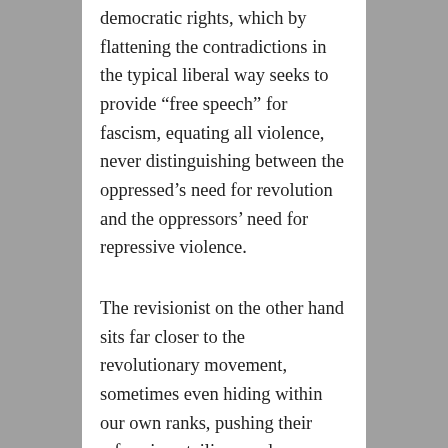democratic rights, which by flattening the contradictions in the typical liberal way seeks to provide “free speech” for fascism, equating all violence, never distinguishing between the oppressed’s need for revolution and the oppressors’ need for repressive violence.
The revisionist on the other hand sits far closer to the revolutionary movement, sometimes even hiding within our own ranks, pushing their reformism, tailism, and electoralism, all of which offer safe cover for fascism by denying the necessity of revolutionary armed struggle.